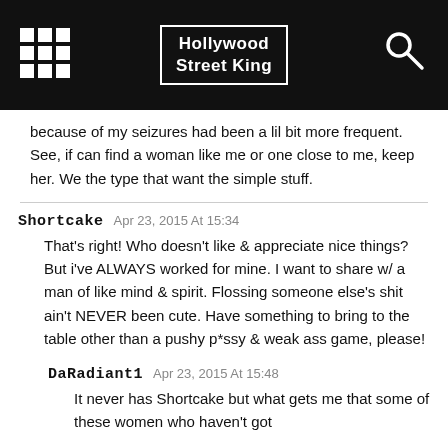Hollywood Street King
because of my seizures had been a lil bit more frequent. See, if can find a woman like me or one close to me, keep her. We the type that want the simple stuff.
Shortcake  Apr 23, 2015 At 15:34
That's right! Who doesn't like & appreciate nice things? But i've ALWAYS worked for mine. I want to share w/ a man of like mind & spirit. Flossing someone else's shit ain't NEVER been cute. Have something to bring to the table other than a pushy p*ssy & weak ass game, please!
DaRadiant1  Apr 23, 2015 At 15:48
It never has Shortcake but what gets me that some of these women who haven't got